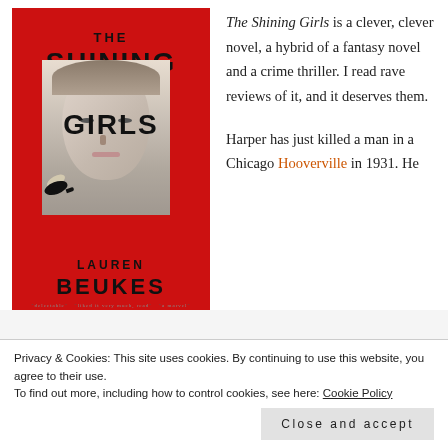[Figure (illustration): Book cover of 'The Shining Girls' by Lauren Beukes. Red background with white rectangle containing a woman's face and a wasp/bee. Title text in bold black letters: THE SHINING GIRLS. Author name: LAUREN BEUKES.]
The Shining Girls is a clever, clever novel, a hybrid of a fantasy novel and a crime thriller. I read rave reviews of it, and it deserves them.
Harper has just killed a man in a Chicago Hooverville in 1931. He
Privacy & Cookies: This site uses cookies. By continuing to use this website, you agree to their use.
To find out more, including how to control cookies, see here: Cookie Policy
Close and accept